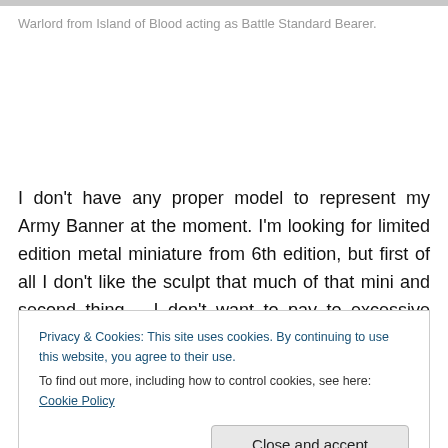[Figure (photo): Gray image bar at top of page]
Warlord from Island of Blood acting as Battle Standard Bearer.
I don't have any proper model to represent my Army Banner at the moment. I'm looking for limited edition metal miniature from 6th edition, but first of all I don't like the sculpt that much of that mini and second thing – I don't want to pay to excessive price for it. Ebay prices for him
Privacy & Cookies: This site uses cookies. By continuing to use this website, you agree to their use.
To find out more, including how to control cookies, see here: Cookie Policy
…they have shown that far greater efficiency. Thi